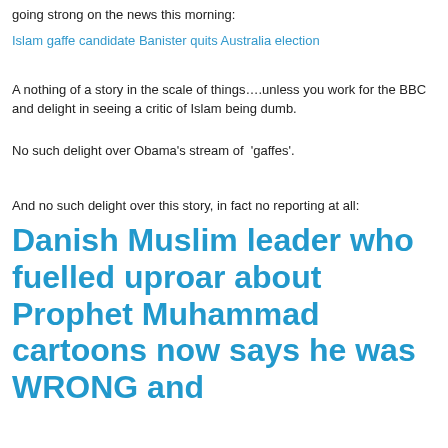going strong on the news this morning:
Islam gaffe candidate Banister quits Australia election
A nothing of a story in the scale of things….unless you work for the BBC and delight in seeing a critic of Islam being dumb.
No such delight over Obama's stream of 'gaffes'.
And no such delight over this story, in fact no reporting at all:
Danish Muslim leader who fuelled uproar about Prophet Muhammad cartoons now says he was WRONG and